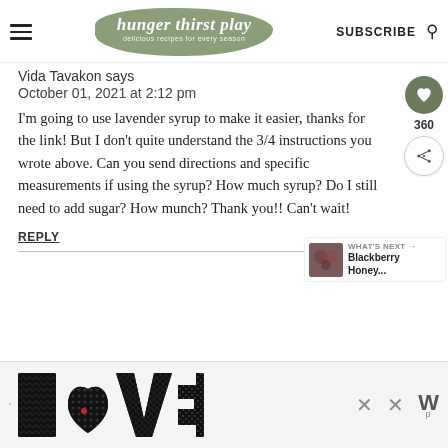hunger thirst play — delicious recipes for every season — SUBSCRIBE
Vida Tavakon says
October 01, 2021 at 2:12 pm
I'm going to use lavender syrup to make it easier, thanks for the link! But I don't quite understand the 3/4 instructions you wrote above. Can you send directions and specific measurements if using the syrup? How much syrup? Do I still need to add sugar? How munch? Thank you!! Can't wait!
REPLY
[Figure (infographic): LOVE decorative text art logo with ornate patterned letters]
[Figure (other): Two X close buttons and a WP superscript logo for an advertisement]